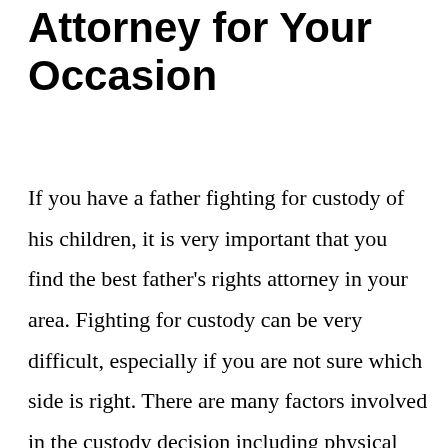Attorney for Your Occasion
If you have a father fighting for custody of his children, it is very important that you find the best father's rights attorney in your area. Fighting for custody can be very difficult, especially if you are not sure which side is right. There are many factors involved in the custody decision including physical proximity, […]